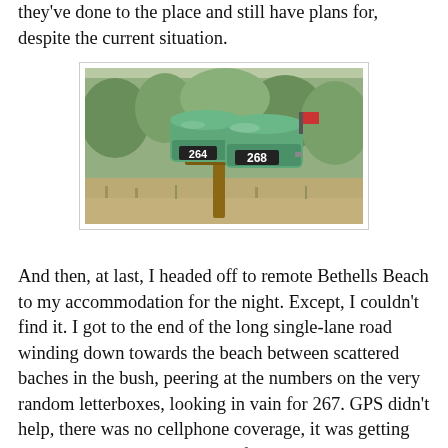they've done to the place and still have plans for, despite the current situation.
[Figure (photo): Two green metal letterboxes/mailboxes numbered 264 and 268, mounted on a wooden post, surrounded by bush/scrub vegetation.]
And then, at last, I headed off to remote Bethells Beach to my accommodation for the night. Except, I couldn't find it. I got to the end of the long single-lane road winding down towards the beach between scattered baches in the bush, peering at the numbers on the very random letterboxes, looking in vain for 267. GPS didn't help, there was no cellphone coverage, it was getting dark, no-one was home in the first two houses with lights on that I knocked at and, if it hadn't been third time lucky, I might have